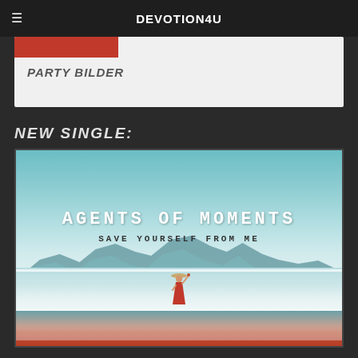DEVOTION4U
PARTY BILDER
NEW SINGLE:
[Figure (photo): Album art for 'Agents of Moments - Save Yourself From Me'. Shows a woman in a red dress and hat standing on salt flats with mountains in the background under a blue sky. Text overlays read 'AGENTS OF MOMENTS' and 'SAVE YOURSELF FROM ME'.]